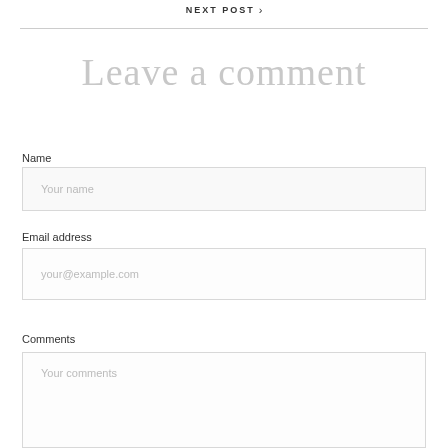NEXT POST >
Leave a comment
Name
Your name
Email address
your@example.com
Comments
Your comments